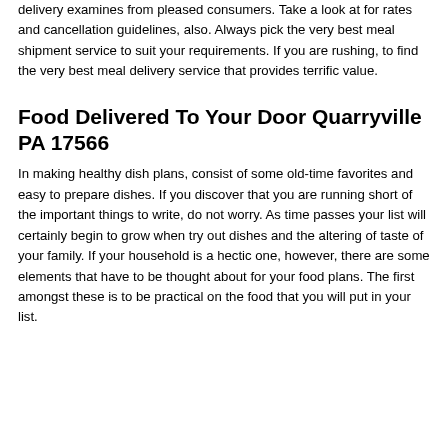delivery examines from pleased consumers. Take a look at for rates and cancellation guidelines, also. Always pick the very best meal shipment service to suit your requirements. If you are rushing, to find the very best meal delivery service that provides terrific value.
Food Delivered To Your Door Quarryville PA 17566
In making healthy dish plans, consist of some old-time favorites and easy to prepare dishes. If you discover that you are running short of the important things to write, do not worry. As time passes your list will certainly begin to grow when try out dishes and the altering of taste of your family. If your household is a hectic one, however, there are some elements that have to be thought about for your food plans. The first amongst these is to be practical on the food that you will put in your list.